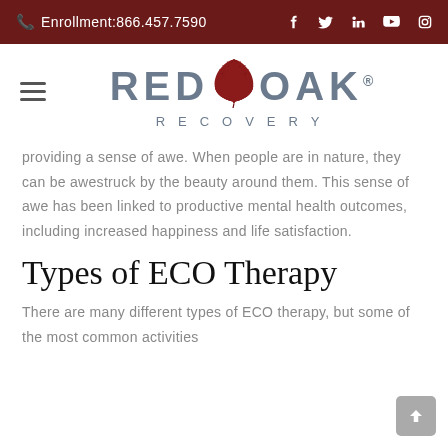Enrollment:866.457.7590
[Figure (logo): Red Oak Recovery logo with red maple leaf between RED and OAK text, RECOVERY spelled below]
providing a sense of awe. When people are in nature, they can be awestruck by the beauty around them. This sense of awe has been linked to productive mental health outcomes, including increased happiness and life satisfaction.
Types of ECO Therapy
There are many different types of ECO therapy, but some of the most common activities